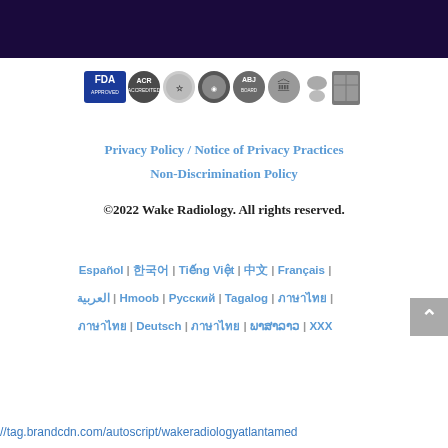[Figure (logo): Dark purple/navy header bar at the top of the page]
[Figure (logo): Row of certification/accreditation badges: FDA Approved, ACR, and several other round seals/logos]
Privacy Policy / Notice of Privacy Practices
Non-Discrimination Policy
©2022 Wake Radiology. All rights reserved.
Español | 한국어 | Tiếng Việt | 中文 | Français | العربية | Hmoob | Русский | Tagalog | ภาษาไทย | ภาษาไทย | Deutsch | ภาษาไทย | ພາສາລາວ | XXX
//tag.brandcdn.com/autoscript/wakeradiologyatlantamed